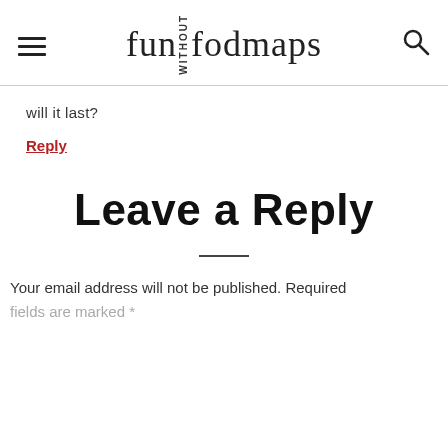fun without fodmaps
will it last?
Reply
Leave a Reply
Your email address will not be published. Required fields are marked *